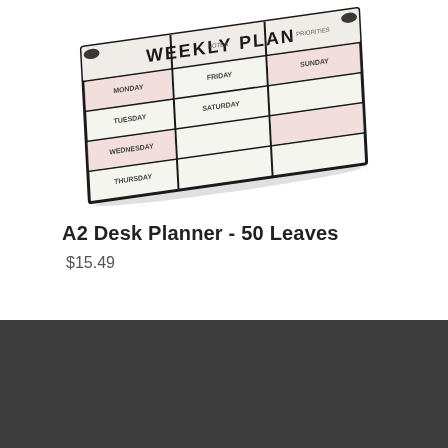[Figure (photo): A2 Weekly Plan desk planner pad shown at an angle, with a grid layout and 'WEEKLY PLAN' header, days of the week labeled, light pink accent rows, and small decorative clips on corners.]
A2 Desk Planner - 50 Leaves
$15.49
Customer Service
+ 100% Guarantee